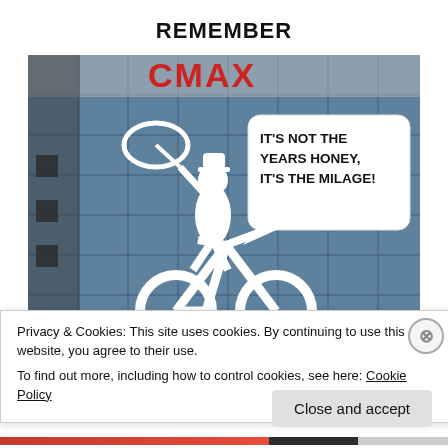REMEMBER
[Figure (photo): A white silhouette figure resembling Indiana Jones riding a bicycle, with a lasso overhead. A speech bubble reads: IT'S NOT THE YEARS HONEY, IT'S THE MILAGE! The background shows a modern building facade with glass windows and a partial red logo at the top.]
Privacy & Cookies: This site uses cookies. By continuing to use this website, you agree to their use.
To find out more, including how to control cookies, see here: Cookie Policy
Close and accept